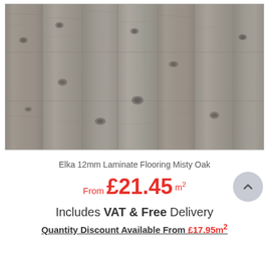[Figure (photo): Close-up photo of grey/taupe wood grain laminate flooring planks (Misty Oak texture), showing wood knots and natural grain patterns in a muted grey-brown tone.]
Elka 12mm Laminate Flooring Misty Oak
From £21.45 m²
Includes VAT & Free Delivery
Quantity Discount Available From £17.95m²